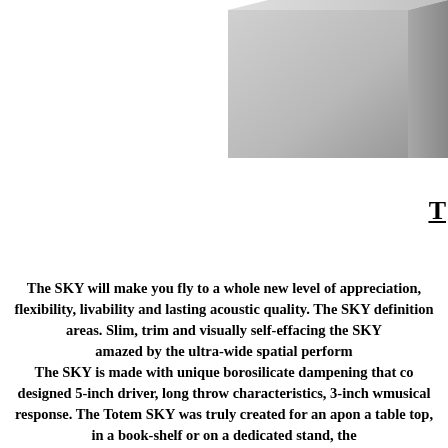[Figure (photo): Partial view of a Totem SKY speaker enclosure, showing a grey/silver rectangular box shape cropped at the top-right corner of the page.]
T
The SKY will make you fly to a whole new level of appreciation, flexibility, livability and lasting acoustic quality. The SKY d definition areas. Slim, trim and visually self-effacing the SKY amazed by the ultra-wide spatial perform
The SKY is made with unique borosilicate dampening that co designed 5-inch driver, long throw characteristics, 3-inch w musical response. The Totem SKY was truly created for an ap on a table top, in a book-shelf or on a dedicated stand, the